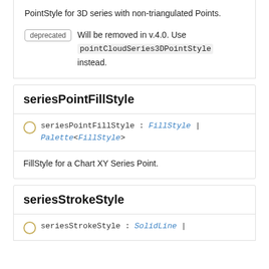Palette<PixelatedPoints3D>
PointStyle for 3D series with non-triangulated Points.
deprecated  Will be removed in v.4.0. Use pointCloudSeries3DPointStyle instead.
seriesPointFillStyle
seriesPointFillStyle : FillStyle | Palette<FillStyle>
FillStyle for a Chart XY Series Point.
seriesStrokeStyle
seriesStrokeStyle : SolidLine |